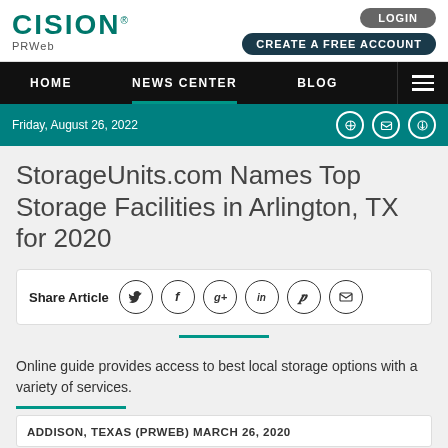CISION PRWeb — LOGIN — CREATE A FREE ACCOUNT
HOME | NEWS CENTER | BLOG
Friday, August 26, 2022
StorageUnits.com Names Top Storage Facilities in Arlington, TX for 2020
Share Article
Online guide provides access to best local storage options with a variety of services.
ADDISON, TEXAS (PRWEB) MARCH 26, 2020